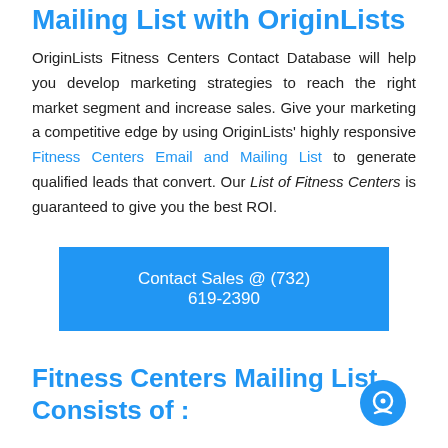Mailing List with OriginLists
OriginLists Fitness Centers Contact Database will help you develop marketing strategies to reach the right market segment and increase sales. Give your marketing a competitive edge by using OriginLists' highly responsive Fitness Centers Email and Mailing List to generate qualified leads that convert. Our List of Fitness Centers is guaranteed to give you the best ROI.
Contact Sales @ (732) 619-2390
Fitness Centers Mailing List Consists of :